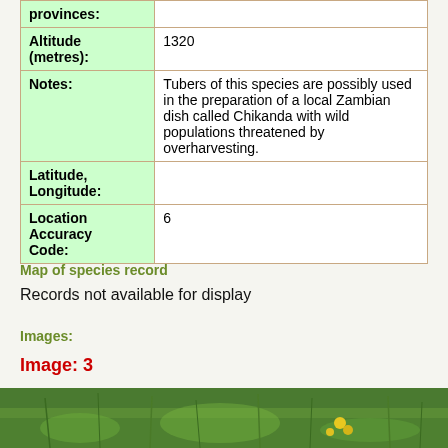| Field | Value |
| --- | --- |
| provinces: |  |
| Altitude (metres): | 1320 |
| Notes: | Tubers of this species are possibly used in the preparation of a local Zambian dish called Chikanda with wild populations threatened by overharvesting. |
| Latitude, Longitude: |  |
| Location Accuracy Code: | 6 |
Map of species record
Records not available for display
Images:
Image: 3
[Figure (photo): Photograph of plant species in natural grassland habitat with green grass and yellow flowers]